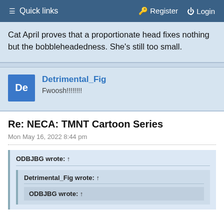≡ Quick links   🔑 Register   ⏻ Login
Cat April proves that a proportionate head fixes nothing but the bobbleheadedness. She's still too small.
Detrimental_Fig
Fwoosh!!!!!!!!
Re: NECA: TMNT Cartoon Series
Mon May 16, 2022 8:44 pm
ODBJBG wrote: ↑
Detrimental_Fig wrote: ↑
ODBJBG wrote: ↑